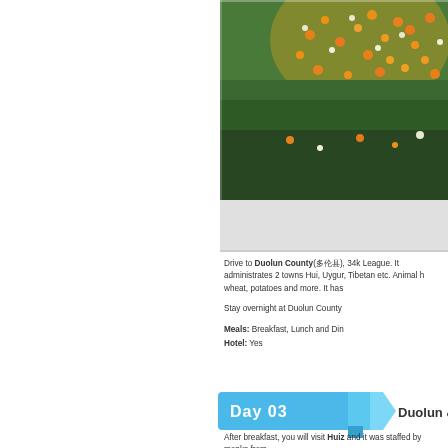[Figure (photo): Field of wildflowers with orange and white blooms on green grass background]
Drive to Duolun County(多伦), 34k League. It administrates 2 towns Hui, Uygur, Tibetan etc. Animal h wheat, potatoes and more. It has
Stay overnight at Duolun County
Meals: Breakfast, Lunch and Din Hotel: Yes
[Figure (infographic): Day 03 banner with blue badge and destination label Duolun]
After breakfast, you will visit Huiz and it was staffed by monks from